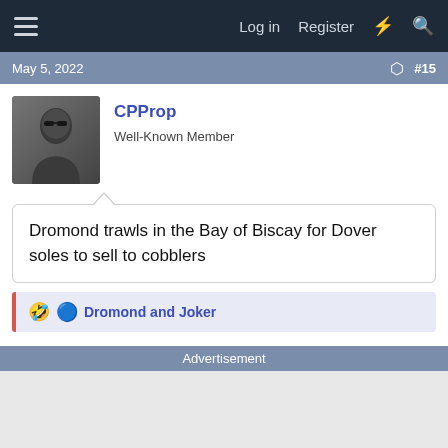Log in  Register
May 5, 2022  #15
CPProp
Well-Known Member
Dromond trawls in the Bay of Biscay for Dover soles to sell to cobblers
Dromond and Joker
Advertisement
Report Ad